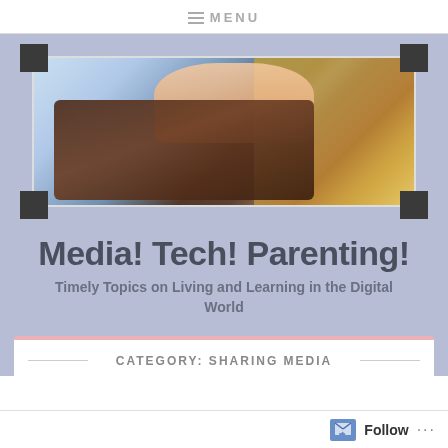MENU
[Figure (photo): Child's hand touching/using a tablet computer on a wooden surface, with a sparkly gold textured fabric visible in the upper right corner]
Media! Tech! Parenting!
Timely Topics on Living and Learning in the Digital World
CATEGORY: SHARING MEDIA